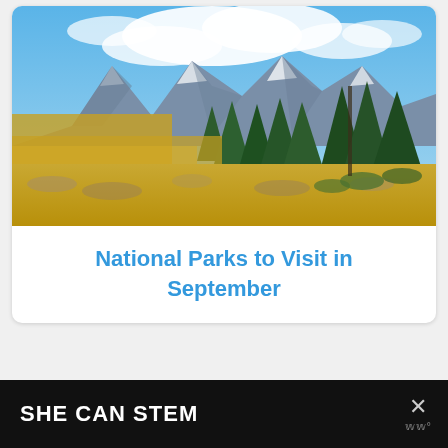[Figure (photo): Scenic national park landscape photo showing the Grand Teton mountains with snow-capped peaks, blue sky with white clouds, yellow autumn trees and green conifers in the middle ground, and golden meadow foreground with sagebrush]
National Parks to Visit in September
[Figure (photo): Partially visible second card/article card below]
SHE CAN STEM